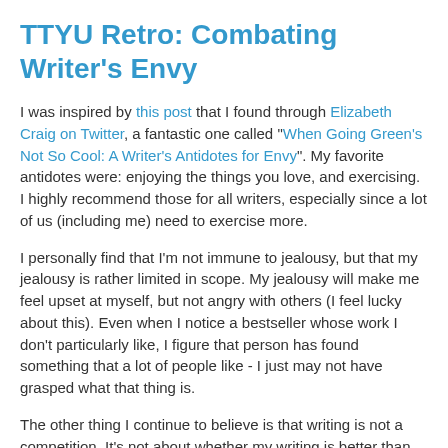TTYU Retro: Combating Writer's Envy
I was inspired by this post that I found through Elizabeth Craig on Twitter, a fantastic one called "When Going Green's Not So Cool: A Writer's Antidotes for Envy". My favorite antidotes were: enjoying the things you love, and exercising. I highly recommend those for all writers, especially since a lot of us (including me) need to exercise more.
I personally find that I'm not immune to jealousy, but that my jealousy is rather limited in scope. My jealousy will make me feel upset at myself, but not angry with others (I feel lucky about this). Even when I notice a bestseller whose work I don't particularly like, I figure that person has found something that a lot of people like - I just may not have grasped what that thing is.
The other thing I continue to believe is that writing is not a competition. It's not about whether my writing is better than someone else's. It's not about two writers with similar styles trying to fit into the same category. I decided with their ind...